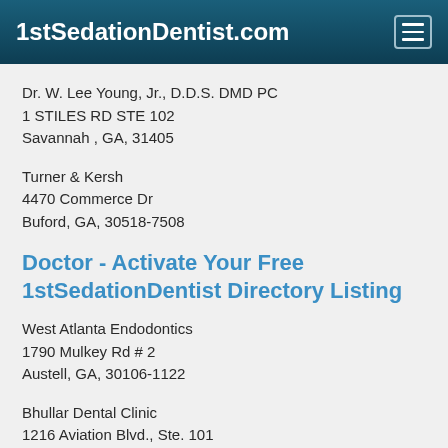1stSedationDentist.com
Dr. W. Lee Young, Jr., D.D.S. DMD PC
1 STILES RD STE 102
Savannah , GA, 31405
Turner & Kersh
4470 Commerce Dr
Buford, GA, 30518-7508
Doctor - Activate Your Free 1stSedationDentist Directory Listing
West Atlanta Endodontics
1790 Mulkey Rd # 2
Austell, GA, 30106-1122
Bhullar Dental Clinic
1216 Aviation Blvd., Ste. 101
Gainesville , GA, 30501
(770) 718-9091